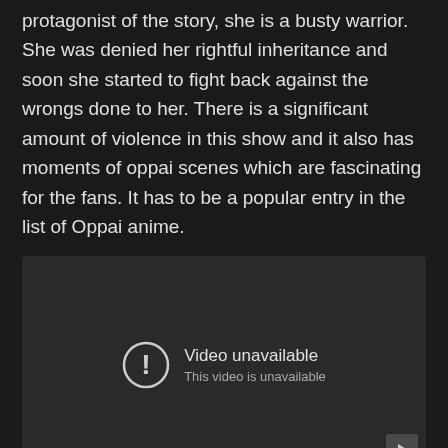protagonist of the story, she is a busty warrior. She was denied her rightful inheritance and soon she started to fight back against the wrongs done to her. There is a significant amount of violence in this show and it also has moments of oppai scenes which are fascinating for the fans. It has to be a popular entry in the list of Oppai anime.
[Figure (screenshot): Embedded video player showing 'Video unavailable – This video is unavailable' message with a circular exclamation icon and a play button in the bottom-right corner.]